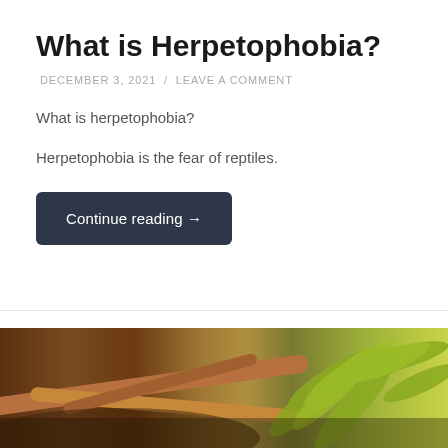What is Herpetophobia?
DECEMBER 3, 2021 / LEAVE A COMMENT
What is herpetophobia?
Herpetophobia is the fear of reptiles.
Continue reading →
[Figure (photo): Outdoor nature photo showing logs and fern foliage on a forest floor with brown earth tones on the left and yellow-green ferns on the right.]